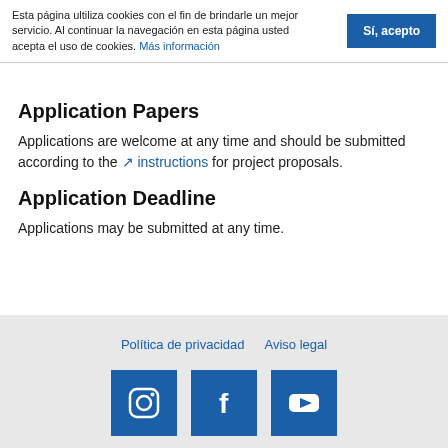Esta página ultiliza cookies con el fin de brindarle un mejor servicio. Al continuar la navegación en esta página usted acepta el uso de cookies. Más información
Sí, acepto
Application Papers
Applications are welcome at any time and should be submitted according to the instructions for project proposals.
Application Deadline
Applications may be submitted at any time.
Política de privacidad  Aviso legal
[Figure (illustration): Social media icons: Instagram, Facebook, YouTube — white icons on blue square backgrounds]